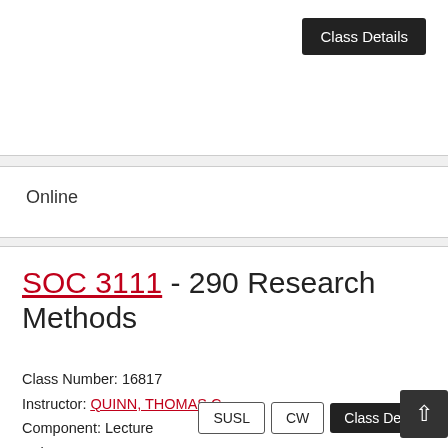[Figure (screenshot): Class Details button in top-right corner of card]
Online
SOC 3111 - 290 Research Methods
Class Number: 16817
Instructor: QUINN, THOMAS C
Component: Lecture
Units: 3.0
Wait List: No
Seats Available: 0
SUSL  CW  Class Details